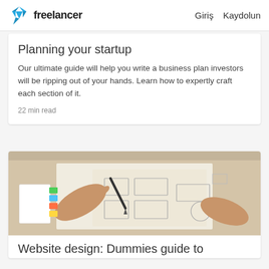freelancer   Giriş   Kaydolun
Planning your startup
Our ultimate guide will help you write a business plan investors will be ripping out of your hands. Learn how to expertly craft each section of it.
22 min read
[Figure (photo): Person writing on paper wireframe/UI sketches with a pen, with colorful sticky note tabs visible in the background]
Website design: Dummies guide to